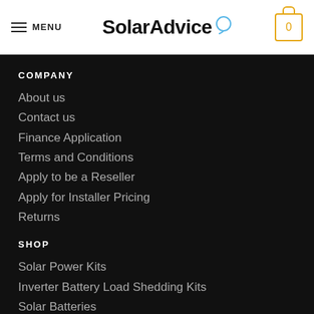MENU | SolarAdvice | 0
COMPANY
About us
Contact us
Finance Application
Terms and Conditions
Apply to be a Reseller
Apply for Installer Pricing
Returns
SHOP
Solar Power Kits
Inverter Battery Load Shedding Kits
Solar Batteries